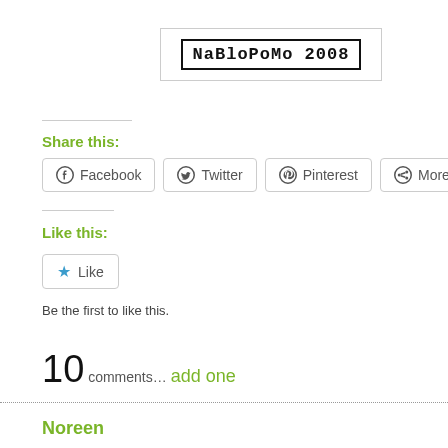[Figure (logo): NaBloPoMo 2008 badge with text in a bordered box]
Share this:
Facebook  Twitter  Pinterest  More
Like this:
Like
Be the first to like this.
10 comments… add one
Noreen